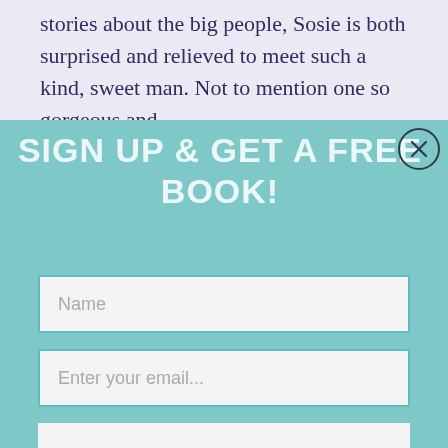stories about the big people, Sosie is both surprised and relieved to meet such a kind, sweet man. Not to mention one so gorgeous and
SIGN UP & GET A FREE BOOK!
[Figure (screenshot): A web signup form overlay with teal background containing two labeled input fields (Name, Enter your email...) and one unlabeled input field, plus a close (X) button in the top right corner.]